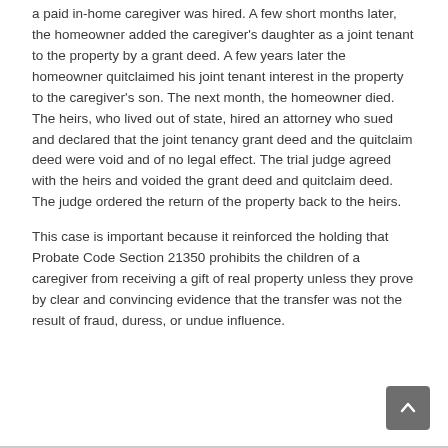a paid in-home caregiver was hired. A few short months later, the homeowner added the caregiver's daughter as a joint tenant to the property by a grant deed. A few years later the homeowner quitclaimed his joint tenant interest in the property to the caregiver's son. The next month, the homeowner died. The heirs, who lived out of state, hired an attorney who sued and declared that the joint tenancy grant deed and the quitclaim deed were void and of no legal effect. The trial judge agreed with the heirs and voided the grant deed and quitclaim deed. The judge ordered the return of the property back to the heirs.
This case is important because it reinforced the holding that Probate Code Section 21350 prohibits the children of a caregiver from receiving a gift of real property unless they prove by clear and convincing evidence that the transfer was not the result of fraud, duress, or undue influence.